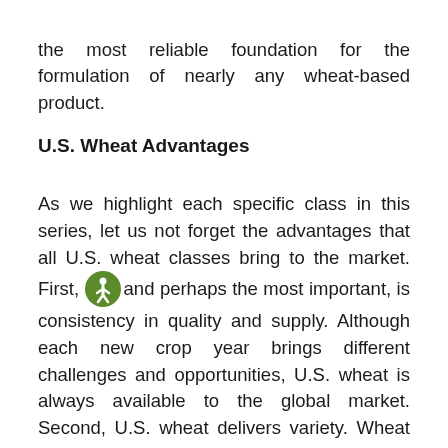the most reliable foundation for the formulation of nearly any wheat-based product.
U.S. Wheat Advantages
As we highlight each specific class in this series, let us not forget the advantages that all U.S. wheat classes bring to the market. First, and perhaps the most important, is consistency in quality and supply. Although each new crop year brings different challenges and opportunities, U.S. wheat is always available to the global market. Second, U.S. wheat delivers variety. Wheat is a raw material manufactured into a bakery ingredient, flour. The flour made from each unique class of U.S. wheat brings